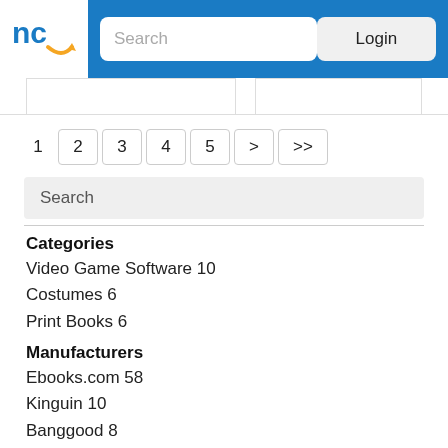[Figure (logo): nc with arrow logo on white background in blue header]
Search
Login
1  2  3  4  5  >  >>
Search
Categories
Video Game Software 10
Costumes 6
Print Books 6
Manufacturers
Ebooks.com 58
Kinguin 10
Banggood 8
Badinka 6
Kush queen 4